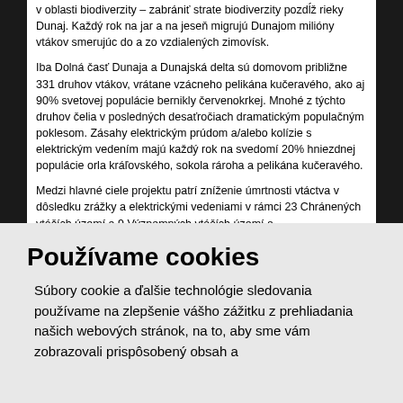v oblasti biodiverzity – zabrániť strate biodiverzity pozdĺž rieky Dunaj. Každý rok na jar a na jeseň migrujú Dunajom milióny vtákov smerujúc do a zo vzdialených zimovísk.
Iba Dolná časť Dunaja a Dunajská delta sú domovom približne 331 druhov vtákov, vrátane vzácneho pelikána kučeravého, ako aj 90% svetovej populácie bernikly červenokrkej. Mnohé z týchto druhov čelia v posledných desaťročiach dramatickým populačným poklesom. Zásahy elektrickým prúdom a/alebo kolízie s elektrickým vedením majú každý rok na svedomí 20% hniezdnej populácie orla kráľovského, sokola rároha a pelikána kučeravého.
Medzi hlavné ciele projektu patrí zníženie úmrtnosti vtáctva v dôsledku zrážky a elektrickými vedeniami v rámci 23 Chránených vtáčích území a 9 Významných vtáčích území a
Používame cookies
Súbory cookie a ďalšie technológie sledovania používame na zlepšenie vášho zážitku z prehliadania našich webových stránok, na to, aby sme vám zobrazovali prispôsobený obsah a